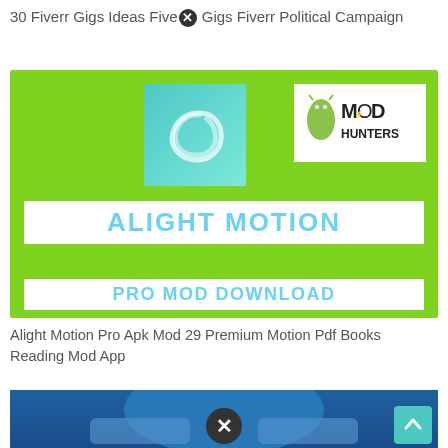30 Fiverr Gigs Ideas Fiverr Gigs Fiverr Political Campaign
[Figure (illustration): Alight Motion Pro Mod Download promotional image on green background with MOD HUNTERS logo]
Alight Motion Pro Apk Mod 29 Premium Motion Pdf Books Reading Mod App
[Figure (screenshot): Blue-themed app screenshot with scroll-up button and close icon]